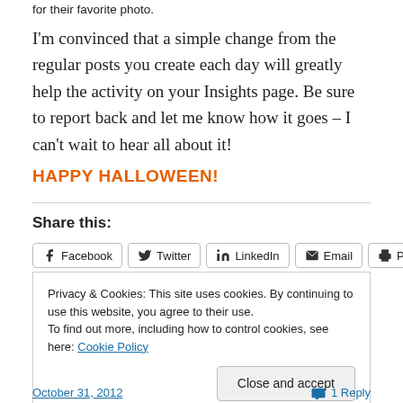for their favorite photo.
I'm convinced that a simple change from the regular posts you create each day will greatly help the activity on your Insights page. Be sure to report back and let me know how it goes – I can't wait to hear all about it!
HAPPY HALLOWEEN!
Share this:
[Figure (other): Social share buttons: Facebook, Twitter, LinkedIn, Email, Print]
Privacy & Cookies: This site uses cookies. By continuing to use this website, you agree to their use.
To find out more, including how to control cookies, see here: Cookie Policy
October 31, 2012   1 Reply